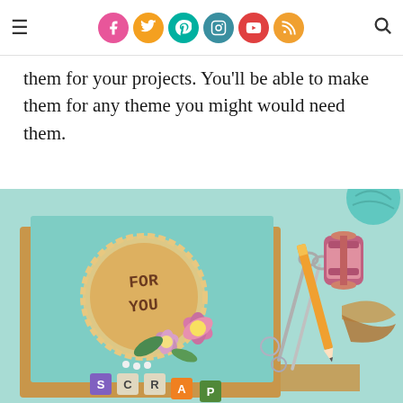Navigation header with hamburger menu, social media icons (Facebook, Twitter, Pinterest, Instagram, YouTube, RSS), and search icon
them for your projects. You'll be able to make them for any theme you might would need them.
[Figure (photo): Crafting flatlay photo showing a handmade scrapbooking card with 'FOR YOU' written on a circular kraft paper label decorated with pink and purple paper flowers and green leaves, placed on a teal background card. Surrounding craft supplies include scissors, a pencil, a pink spool of thread, ribbon, small metal charms, pearl beads, and letter tiles spelling 'SCRAP'.]